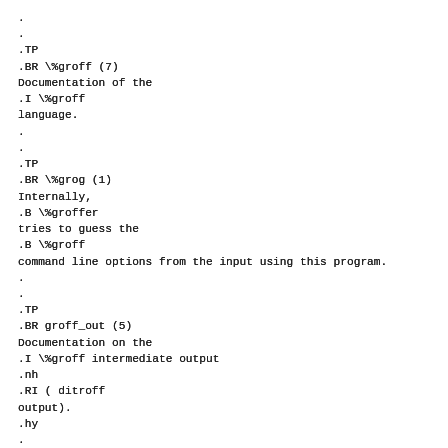.
.
.TP
.BR \%groff (7)
Documentation of the
.I \%groff
language.
.
.
.TP
.BR \%grog (1)
Internally,
.B \%groffer
tries to guess the
.B \%groff
command line options from the input using this program.
.
.
.TP
.BR groff_out (5)
Documentation on the
.I \%groff intermediate output
.nh
.RI ( ditroff
output).
.hy
.
.
.TP
.BR groff_tmac (5)